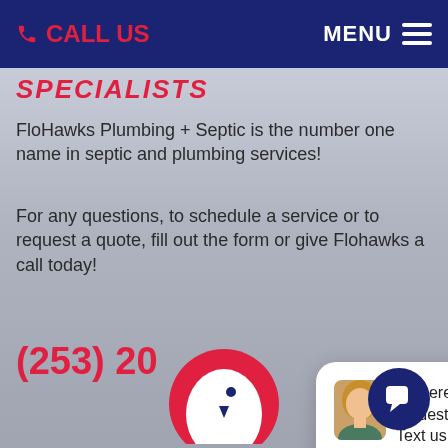CALL US   MENU
SPECIALISTS
FloHawks Plumbing + Septic is the number one name in septic and plumbing services!
For any questions, to schedule a service or to request a quote, fill out the form or give Flohawks a call today!
(253) 20…
close
Hi there, have a question? Text us here.
[Figure (logo): FloHawks red hawk logo at bottom center]
[Figure (illustration): Dark navy chat icon button with speech bubble icon, bottom right]